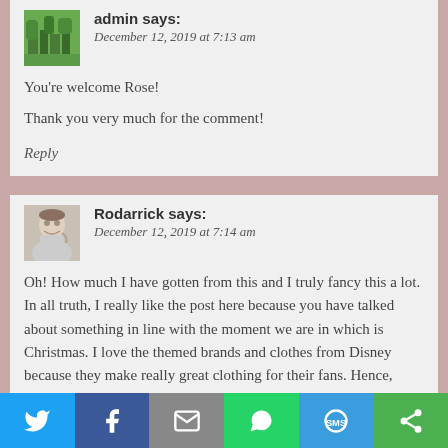admin says: December 12, 2019 at 7:13 am
You're welcome Rose!
Thank you very much for the comment!
Reply
Rodarrick says: December 12, 2019 at 7:14 am
Oh! How much I have gotten from this and I truly fancy this a lot. In all truth, I really like the post here because you have talked about something in line with the moment we are in which is Christmas. I love the themed brands and clothes from Disney because they make really great clothing for their fans. Hence,